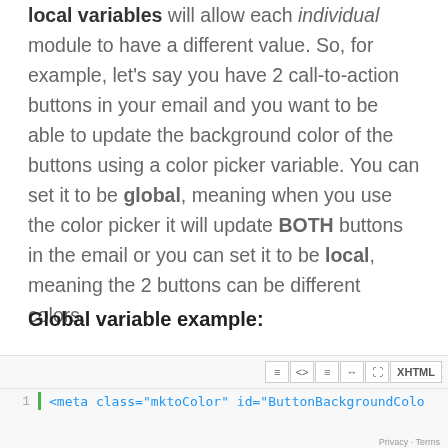local variables will allow each individual module to have a different value. So, for example, let's say you have 2 call-to-action buttons in your email and you want to be able to update the background color of the buttons using a color picker variable. You can set it to be global, meaning when you use the color picker it will update BOTH buttons in the email or you can set it to be local, meaning the 2 buttons can be different colors.
Global variable example:
[Figure (screenshot): Code editor screenshot showing line 1 with HTML: <meta class="mktoColor" id="ButtonBackgroundColo... with toolbar icons (XHTML label, align, code, list, arrow, expand buttons) and a green line indicator.]